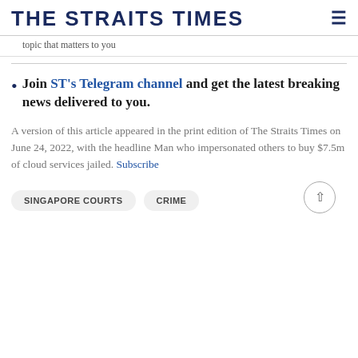THE STRAITS TIMES
topic that matters to you
Join ST's Telegram channel and get the latest breaking news delivered to you.
A version of this article appeared in the print edition of The Straits Times on June 24, 2022, with the headline Man who impersonated others to buy $7.5m of cloud services jailed. Subscribe
SINGAPORE COURTS   CRIME